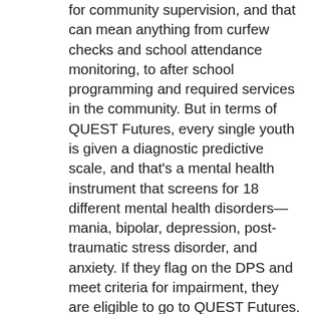for community supervision, and that can mean anything from curfew checks and school attendance monitoring, to after school programming and required services in the community. But in terms of QUEST Futures, every single youth is given a diagnostic predictive scale, and that's a mental health instrument that screens for 18 different mental health disorders—mania, bipolar, depression, post-traumatic stress disorder, and anxiety. If they flag on the DPS and meet criteria for impairment, they are eligible to go to QUEST Futures. So there's an intake set up with QUEST Futures staff and youth and families. There's a full bio-psycho-social assessment, and this includes a psychiatric evaluation and supplemental information from home visits, and